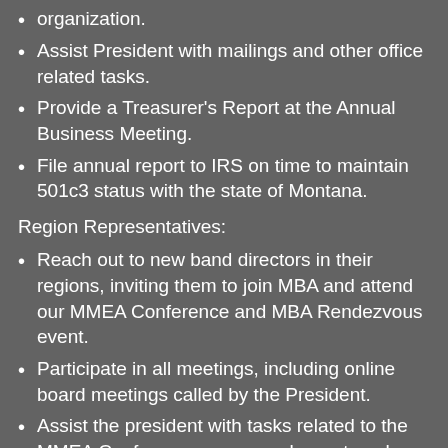organization.
Assist President with mailings and other office related tasks.
Provide a Treasurer's Report at the Annual Business Meeting.
File annual report to IRS on time to maintain 501c3 status with the state of Montana.
Region Representatives:
Reach out to new band directors in their regions, inviting them to join MBA and attend our MMEA Conference and MBA Rendezvous event.
Participate in all meetings, including online board meetings called by the President.
Assist the president with tasks related to the MMEA Conference, new member outreach and other projects designated by the Board of Directors.